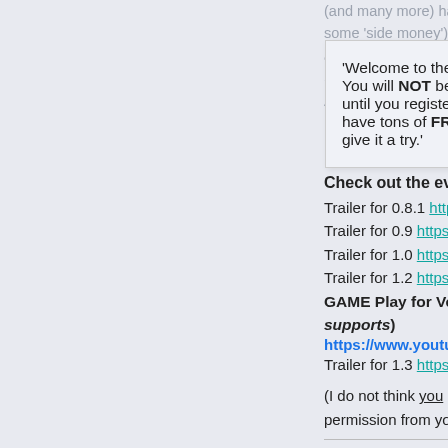(and many more) has kept you from pu... some 'side money') as a Graphics Artis...
'Welcome to the Mac OS 9 Lives! Forum. You will NOT be able to download our files until you register to become a member. We have tons of FREE stuff waiting for you, do give it a try.'
all you nee... Software Does!!
And SO MANY FREE GAMES!!! Have
https://supertuxkart.net/Main_
It is for Linux | Windows | macOS | a
Check out the evolution of the game
Trailer for 0.8.1 https://www.youtube.co
Trailer for 0.9 https://www.youtube.com
Trailer for 1.0 https://www.youtube.com
Trailer for 1.2 https://www.youtube.com
GAME Play for Version 1.2 (The last supports)
https://www.youtube.com/watch?v=e
Trailer for 1.3 https://www.youtube.com
(I do not think you are ALLOWED to ha... permission from your Parents, First.)
Think of it like Super Mario Karts, but F... Tracks/Battle Arenas/and Karts Availab... Modes (Including "Easter Eggs").